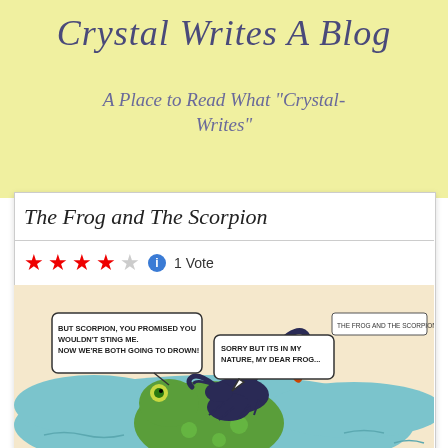Crystal Writes A Blog
A Place to Read What "Crystal-Writes"
The Frog and The Scorpion
★★★★☆ ℹ 1 Vote
[Figure (illustration): Comic illustration of a frog and scorpion in water. The frog says 'BUT SCORPION, YOU PROMISED YOU WOULDN'T STING ME. NOW WE'RE BOTH GOING TO DROWN!' and the scorpion says 'SORRY BUT ITS IN MY NATURE, MY DEAR FROG...' A title box reads 'THE FROG AND THE SCORPION'.]